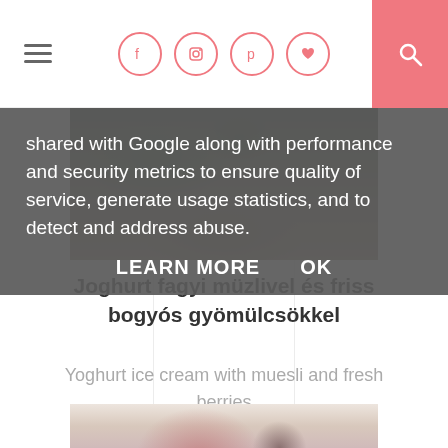Navigation bar with hamburger menu, social icons (Facebook, Instagram, Pinterest, heart), and search
shared with Google along with performance and security metrics to ensure quality of service, generate usage statistics, and to detect and address abuse.
LEARN MORE   OK
[Figure (photo): Dark food photograph showing berries and green leaves on a textured background]
Joghurt fagyi müzlivel és friss bogyós gyömülcsökkel
Yoghurt ice cream with muesli and fresh berries
[Figure (photo): Blurred food photograph showing ice cream with berries on a light background]